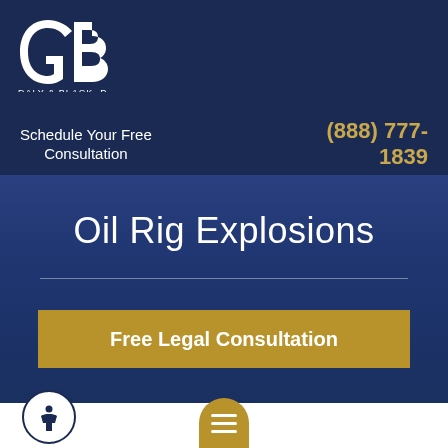[Figure (logo): Daly & Black P.C. logo — white stylized G and B letters combined, with firm name below]
Schedule Your Free Consultation
(888) 777-1839
Oil Rig Explosions
Free Legal Consultation